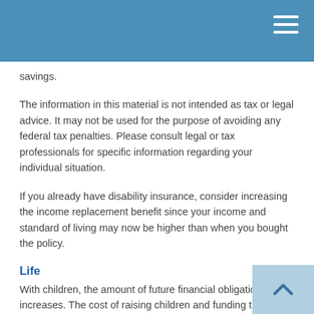savings.
The information in this material is not intended as tax or legal advice. It may not be used for the purpose of avoiding any federal tax penalties. Please consult legal or tax professionals for specific information regarding your individual situation.
If you already have disability insurance, consider increasing the income replacement benefit since your income and standard of living may now be higher than when you bought the policy.
Life
With children, the amount of future financial obligations increases. The cost of raising children and funding their college education can be expensive. Should one of the